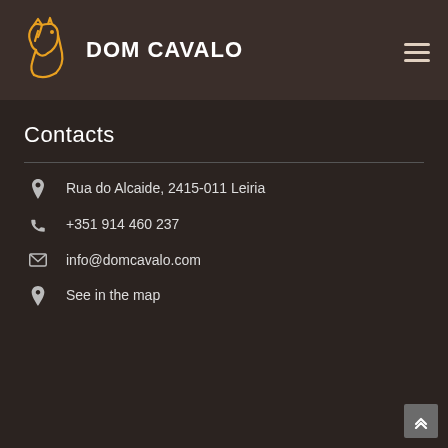[Figure (logo): Dom Cavalo logo with horse head silhouette in gold/orange outline and bold white text 'DOM CAVALO']
Contacts
Rua do Alcaide, 2415-011 Leiria
+351 914 460 237
info@domcavalo.com
See in the map